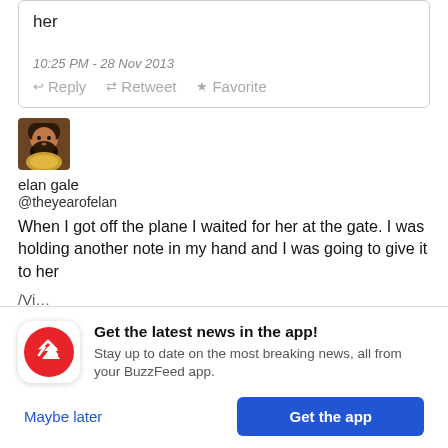her
10:25 PM - 28 Nov 2013
← Reply  ⇄ Retweet  ★ Favorite
[Figure (photo): Profile photo of elan gale, a man with dark hair and beard holding what appears to be a golden-colored object]
elan gale
@theyearofelan
When I got off the plane I waited for her at the gate. I was holding another note in my hand and I was going to give it to her
/Vi…
Get the latest news in the app!
Stay up to date on the most breaking news, all from your BuzzFeed app.
Maybe later
Get the app